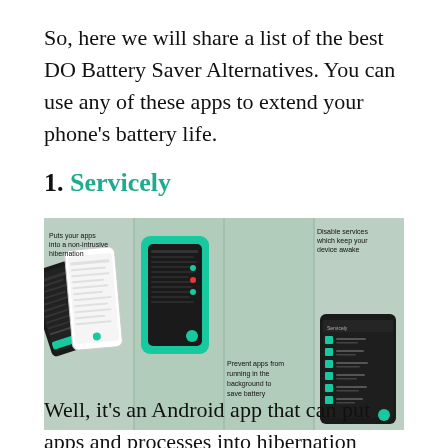So, here we will share a list of the best DO Battery Saver Alternatives. You can use any of these apps to extend your phone's battery life.
1. Servicely
[Figure (screenshot): Four-panel promotional screenshot of the Servicely Android app showing phones with the app interface. Text overlays read: 'Puts your apps into a non-intrusive hibernation', 'Prevent apps from running in the background to save battery', 'Disable services which keep your device awake'.]
Well, it's an Android app that can put apps and processes into hibernation mode. The app